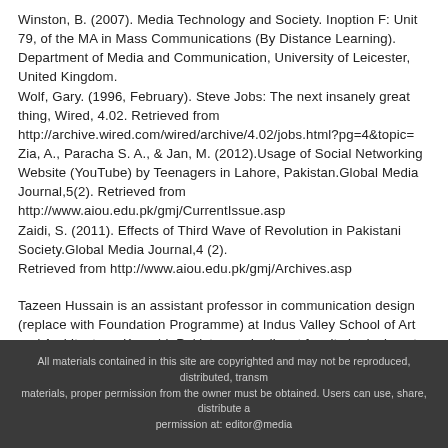Winston, B. (2007). Media Technology and Society. Inoption F: Unit 79, of the MA in Mass Communications (By Distance Learning). Department of Media and Communication, University of Leicester, United Kingdom. Wolf, Gary. (1996, February). Steve Jobs: The next insanely great thing, Wired, 4.02. Retrieved from http://archive.wired.com/wired/archive/4.02/jobs.html?pg=4&topic= Zia, A., Paracha S. A., & Jan, M. (2012).Usage of Social Networking Website (YouTube) by Teenagers in Lahore, Pakistan.Global Media Journal,5(2). Retrieved from http://www.aiou.edu.pk/gmj/CurrentIssue.asp Zaidi, S. (2011). Effects of Third Wave of Revolution in Pakistani Society.Global Media Journal,4 (2). Retrieved from http://www.aiou.edu.pk/gmj/Archives.asp
Tazeen Hussain is an assistant professor in communication design (replace with Foundation Programme) at Indus Valley School of Art and Architecture, Karachi, Pakistan and adjunct faculty in design at University of Karachi. Her research interests are communication, design, new media, and affective and effective learning.
All materials contained in this site are copyrighted and may not be reproduced, distributed, transmitted, materials, proper permission from the owner must be obtained. Users can use, share, distribute and permission at: editor@media